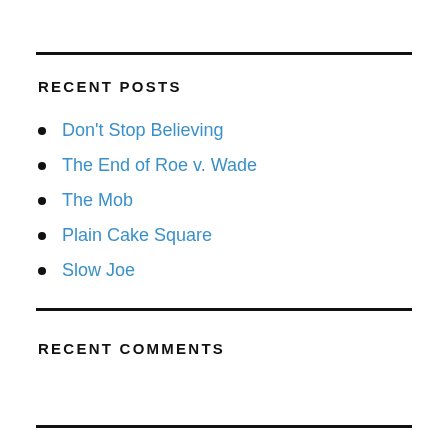RECENT POSTS
Don't Stop Believing
The End of Roe v. Wade
The Mob
Plain Cake Square
Slow Joe
RECENT COMMENTS